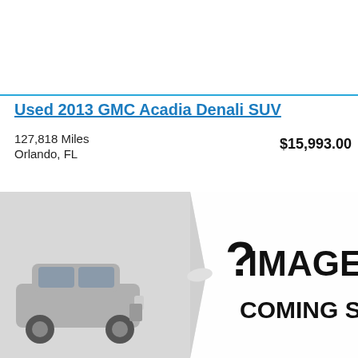Used 2013 GMC Acadia Denali SUV
127,818 Miles
Orlando, FL
$15,993.00
[Figure (illustration): Image coming soon placeholder with a silhouette of a car on the left and a page-curl overlay with '? IMAGE COMING SOON' text in bold black on white background.]